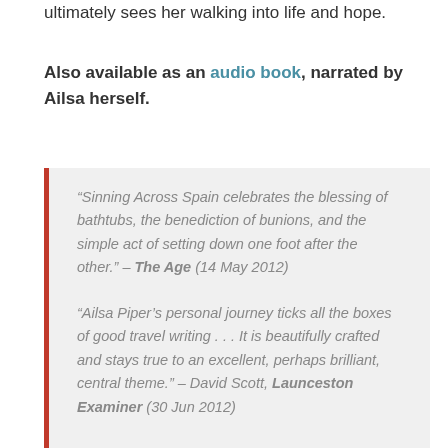ultimately sees her walking into life and hope.
Also available as an audio book, narrated by Ailsa herself.
“Sinning Across Spain celebrates the blessing of bathtubs, the benediction of bunions, and the simple act of setting down one foot after the other.” – The Age (14 May 2012)
“Ailsa Piper’s personal journey ticks all the boxes of good travel writing . . . It is beautifully crafted and stays true to an excellent, perhaps brilliant, central theme.” – David Scott, Launceston Examiner (30 Jun 2012)